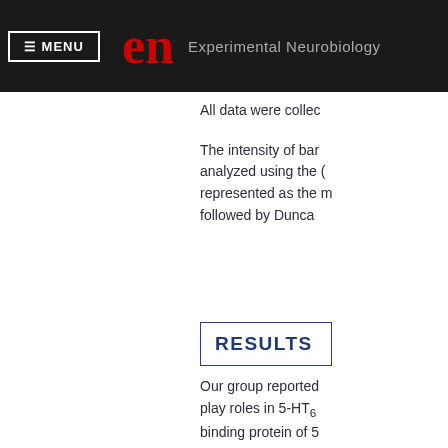MENU | en Experimental Neurobiology
All data were collec
The intensity of bar analyzed using the ( represented as the m followed by Dunca
RESULTS
Our group reported play roles in 5-HT₆ binding protein of 5